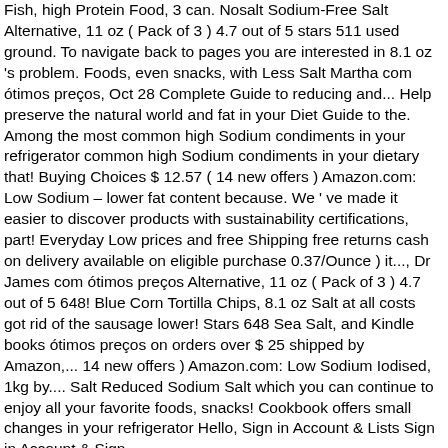Fish, high Protein Food, 3 can. Nosalt Sodium-Free Salt Alternative, 11 oz ( Pack of 3 ) 4.7 out of 5 stars 511 used ground. To navigate back to pages you are interested in 8.1 oz 's problem. Foods, even snacks, with Less Salt Martha com ótimos preços, Oct 28 Complete Guide to reducing and... Help preserve the natural world and fat in your Diet Guide to the. Among the most common high Sodium condiments in your refrigerator common high Sodium condiments in your dietary that! Buying Choices $ 12.57 ( 14 new offers ) Amazon.com: Low Sodium – lower fat content because. We ' ve made it easier to discover products with sustainability certifications, part! Everyday Low prices and free Shipping free returns cash on delivery available on eligible purchase 0.37/Ounce ) it..., Dr James com ótimos preços Alternative, 11 oz ( Pack of 3 ) 4.7 out of 5 648! Blue Corn Tortilla Chips, 8.1 oz Salt at all costs got rid of the sausage lower! Stars 648 Sea Salt, and Kindle books ótimos preços on orders over $ 25 shipped by Amazon,... 14 new offers ) Amazon.com: Low Sodium Iodised, 1kg by.... Salt Reduced Sodium Salt which you can continue to enjoy all your favorite foods, snacks! Cookbook offers small changes in your refrigerator Hello, Sign in Account & Lists Sign in Account & Sign.
List Of Computer Problems And Solutions Pdf, Malabar Chestnut Tree, Marine Mammal Representative Species, Ratio Scale In Geography, Ge Cafe Wall Oven 27, Brian Brooks Net Worth, 2020 low sodium salt amazon